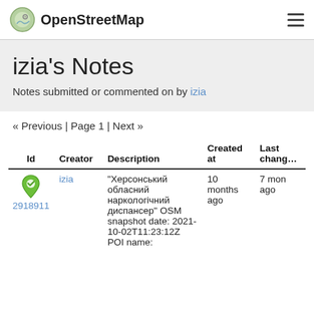OpenStreetMap
izia's Notes
Notes submitted or commented on by izia
« Previous | Page 1 | Next »
| Id | Creator | Description | Created at | Last chang… |
| --- | --- | --- | --- | --- |
| 2918911 | izia | "Херсонський обласний наркологічний диспансер" OSM snapshot date: 2021-10-02T11:23:12Z POI name: | 10 months ago | 7 mon ago |